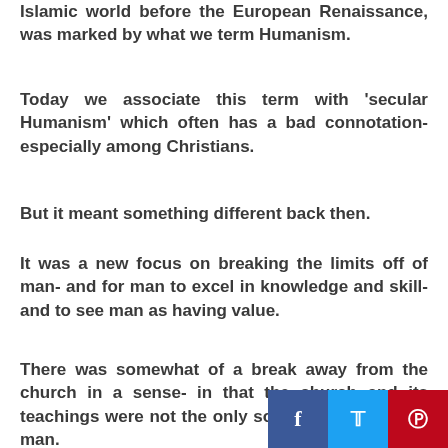Islamic world before the European Renaissance, was marked by what we term Humanism.
Today we associate this term with 'secular Humanism' which often has a bad connotation- especially among Christians.
But it meant something different back then.
It was a new focus on breaking the limits off of man- and for man to excel in knowledge and skill- and to see man as having value.
There was somewhat of a break away from the church in a sense- in that the church and its teachings were not the only source of wisdom for man.
[Figure (other): Social sharing buttons bar with Facebook (blue), Twitter (light blue), and Pinterest (red) icons at bottom right corner]